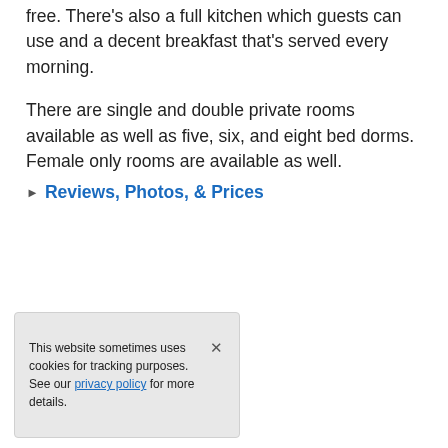free. There's also a full kitchen which guests can use and a decent breakfast that's served every morning.
There are single and double private rooms available as well as five, six, and eight bed dorms. Female only rooms are available as well.
▶ Reviews, Photos, & Prices
This website sometimes uses cookies for tracking purposes. See our privacy policy for more details.